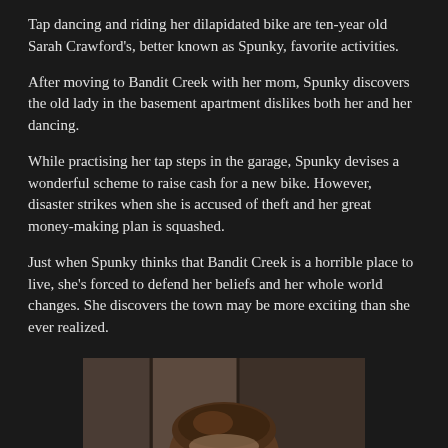Tap dancing and riding her dilapidated bike are ten-year old Sarah Crawford's, better known as Spunky, favorite activities.
After moving to Bandit Creek with her mom, Spunky discovers the old lady in the basement apartment dislikes both her and her dancing.
While practising her tap steps in the garage, Spunky devises a wonderful scheme to raise cash for a new bike. However, disaster strikes when she is accused of theft and her great money-making plan is squashed.
Just when Spunky thinks that Bandit Creek is a horrible place to live, she's forced to defend her beliefs and her whole world changes. She discovers the town may be more exciting than she ever realized.
[Figure (photo): A partial view of a person's head with brown hair, photographed from above or at an angle, against a muted background with vertical panel-like structures.]